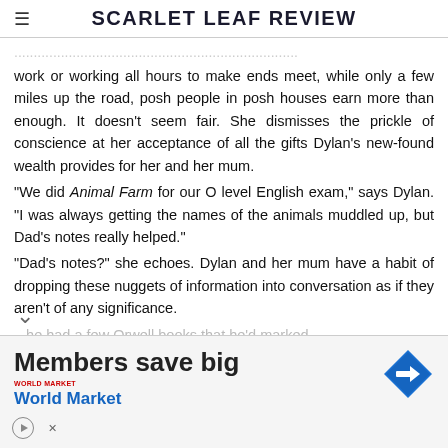SCARLET LEAF REVIEW
work or working all hours to make ends meet, while only a few miles up the road, posh people in posh houses earn more than enough. It doesn't seem fair. She dismisses the prickle of conscience at her acceptance of all the gifts Dylan's new-found wealth provides for her and her mum.
"We did Animal Farm for our O level English exam," says Dylan. "I was always getting the names of the animals muddled up, but Dad's notes really helped."
"Dad's notes?" she echoes. Dylan and her mum have a habit of dropping these nuggets of information into conversation as if they aren't of any significance.
...he had a few Orwell books that he'd marked
[Figure (infographic): Advertisement for World Market: 'Members save big' with World Market logo and navigation arrow icon]